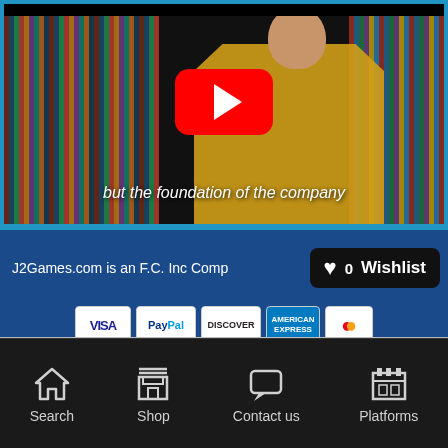[Figure (screenshot): YouTube video thumbnail showing a person in yellow shirt in front of a game shelf, with YouTube play button overlay and subtitle text 'but the foundation of the company']
J2Games.com is an F.C. Inc Comp
Wishlist 0
[Figure (other): Payment method icons: VISA, PayPal, Discover, American Express, Mastercard]
[Figure (other): Scroll to top button (chevron up arrow)]
Search  Shop  Contact us  Platforms